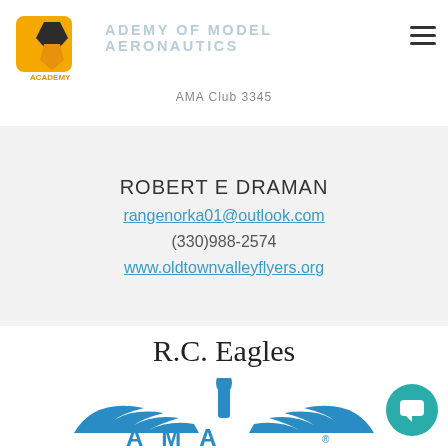ACADEMY OF MODEL AERONAUTICS
AMA Club 3345
ROBERT E DRAMAN
rangenorka01@outlook.com
(330)988-2574
www.oldtownvalleyflyers.org
R.C. Eagles
[Figure (logo): AMA (Academy of Model Aeronautics) logo — blue eagle wings with torch emblem and AMA text]